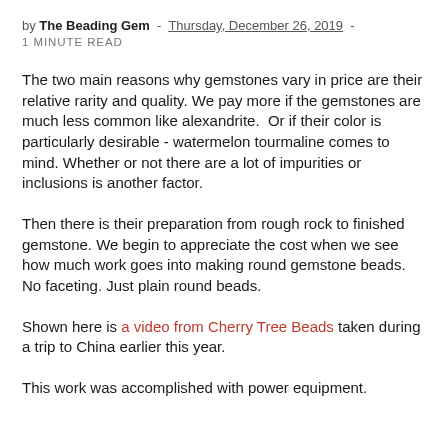by The Beading Gem - Thursday, December 26, 2019 - 1 MINUTE READ
The two main reasons why gemstones vary in price are their relative rarity and quality. We pay more if the gemstones are much less common like alexandrite.  Or if their color is particularly desirable - watermelon tourmaline comes to mind. Whether or not there are a lot of impurities or inclusions is another factor.
Then there is their preparation from rough rock to finished gemstone. We begin to appreciate the cost when we see how much work goes into making round gemstone beads.  No faceting. Just plain round beads.
Shown here is a video from Cherry Tree Beads taken during a trip to China earlier this year.
This work was accomplished with power equipment.